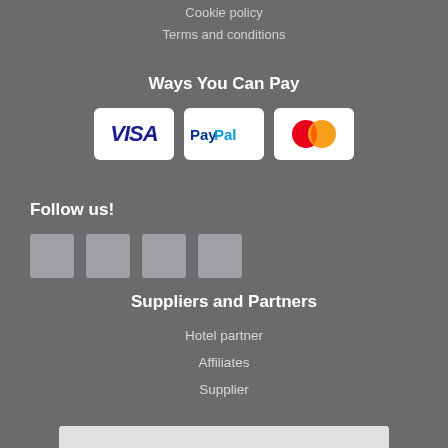Cookie policy
Terms and conditions
Ways You Can Pay
[Figure (logo): Payment method logos: VISA, PayPal, Mastercard]
Follow us!
[Figure (illustration): Four social media icon placeholders (grey squares)]
Suppliers and Partners
Hotel partner
Affiliates
Supplier